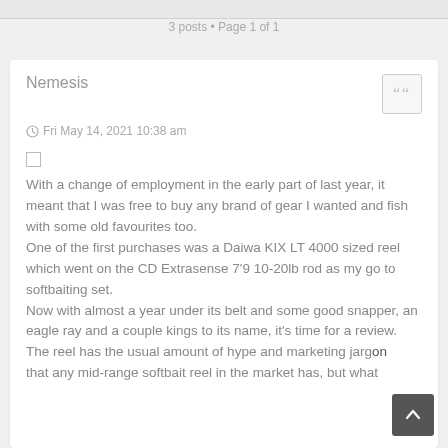3 posts • Page 1 of 1
Nemesis
Fri May 14, 2021 10:38 am
With a change of employment in the early part of last year, it meant that I was free to buy any brand of gear I wanted and fish with some old favourites too.
One of the first purchases was a Daiwa KIX LT 4000 sized reel which went on the CD Extrasense 7'9 10-20lb rod as my go to softbaiting set.
Now with almost a year under its belt and some good snapper, an eagle ray and a couple kings to its name, it's time for a review.
The reel has the usual amount of hype and marketing jargon that any mid-range softbait reel in the market has, but what